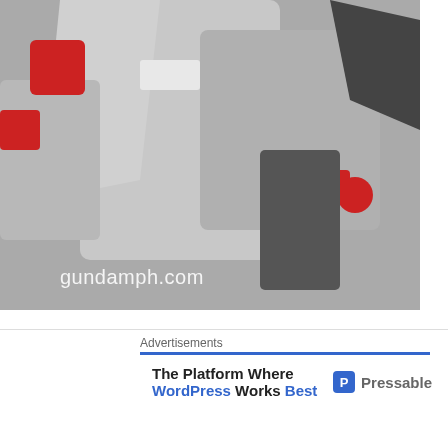[Figure (photo): Close-up photo of a Gundam model figure showing red and gray parts of its backpack/body, with watermark 'gundamph.com' in white text]
He loves his backpack!
[Figure (photo): Photo of a Gundam model figure's backpack unit viewed from behind, showing gray missile/thruster parts and blue accents on white background]
Advertisements
The Platform Where WordPress Works Best   Pressable